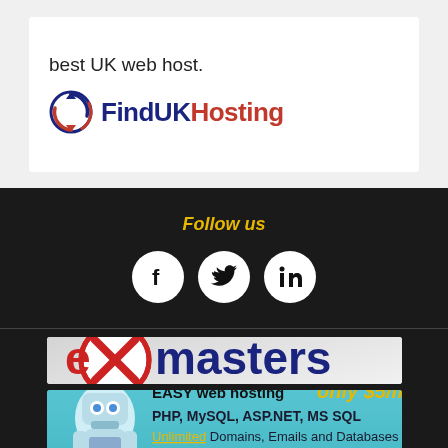best UK web host.
[Figure (logo): FindUKHosting logo with circular arrow icon in navy/red and text 'FindUK' in dark blue and 'Hosting' in red]
Follow us
[Figure (illustration): Three circular social media icons (Facebook, Twitter, LinkedIn) on dark background]
[Figure (illustration): exmasters advertisement banner - 'Do you need better hosting?' with red X logo]
[Figure (illustration): EasyHost1 advertisement banner - EASY web hosting only $5/mo, PHP, MySQL, ASP.NET, MS SQL, Unlimited Domains, Emails and Databases]